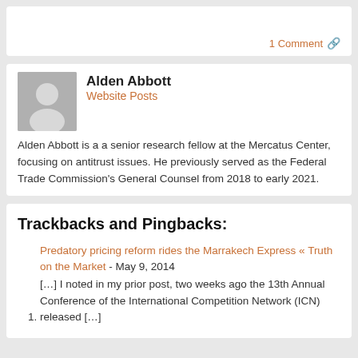1 Comment 🔗
Alden Abbott
Website Posts
Alden Abbott is a a senior research fellow at the Mercatus Center, focusing on antitrust issues. He previously served as the Federal Trade Commission's General Counsel from 2018 to early 2021.
Trackbacks and Pingbacks:
Predatory pricing reform rides the Marrakech Express « Truth on the Market - May 9, 2014
[…] I noted in my prior post, two weeks ago the 13th Annual Conference of the International Competition Network (ICN) released […]